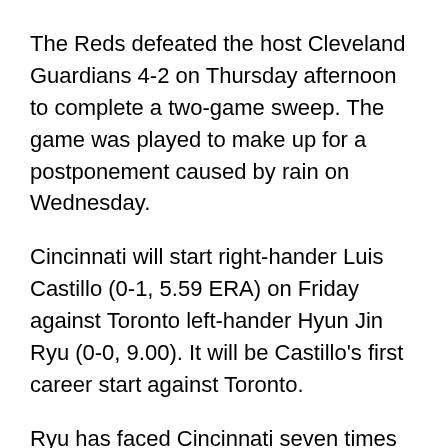The Reds defeated the host Cleveland Guardians 4-2 on Thursday afternoon to complete a two-game sweep. The game was played to make up for a postponement caused by rain on Wednesday.
Cincinnati will start right-hander Luis Castillo (0-1, 5.59 ERA) on Friday against Toronto left-hander Hyun Jin Ryu (0-0, 9.00). It will be Castillo's first career start against Toronto.
Ryu has faced Cincinnati seven times in his career (all starts), each when he was